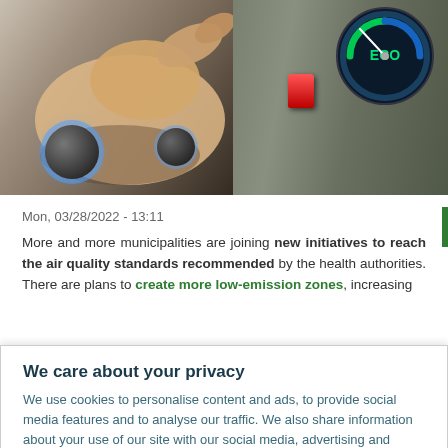[Figure (photo): A hand pressing buttons on a car dashboard with an ECO mode dial glowing in blue/green. The dashboard shows various controls including a red button and illuminated dials.]
Mon, 03/28/2022 - 13:11
More and more municipalities are joining new initiatives to reach the air quality standards recommended by the health authorities. There are plans to create more low-emission zones, increasing
We care about your privacy
We use cookies to personalise content and ads, to provide social media features and to analyse our traffic. We also share information about your use of our site with our social media, advertising and analytics partners.  Cookie Policy